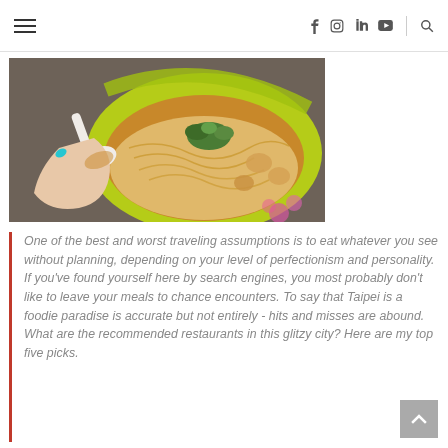Navigation bar with hamburger menu, social icons (facebook, instagram, linkedin, youtube), divider, and search icon
[Figure (photo): A bright green bowl of noodle soup with a white ceramic spoon being held by a hand with teal nail polish. The bowl contains broth, noodles, mushrooms, and is garnished with fresh herbs on top.]
One of the best and worst traveling assumptions is to eat whatever you see without planning, depending on your level of perfectionism and personality. If you've found yourself here by search engines, you most probably don't like to leave your meals to chance encounters. To say that Taipei is a foodie paradise is accurate but not entirely - hits and misses are abound. What are the recommended restaurants in this glitzy city? Here are my top five picks.